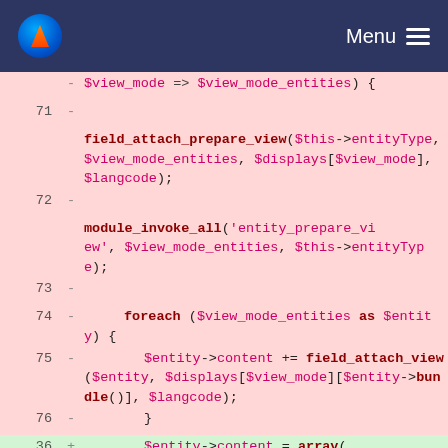Menu
[Figure (screenshot): Code diff view showing PHP code with deleted lines (pink background, lines 71-76) and added lines (green background, lines 36-38). Deleted lines show field_attach_prepare_view, module_invoke_all, foreach loop, and field_attach_view calls. Added lines show $entity->content = array( '#view_mode' => $view_mode, );]
$view_mode => $view_mode_entities) {
field_attach_prepare_view($this->entityType, $view_mode_entities, $displays[$view_mode], $langcode);
module_invoke_all('entity_prepare_view', $view_mode_entities, $this->entityType);
foreach ($view_mode_entities as $entity) {
$entity->content += field_attach_view($entity, $displays[$view_mode][$entity->bundle()], $langcode);
}
$entity->content = array(
'#view_mode' => $view_mode,
);